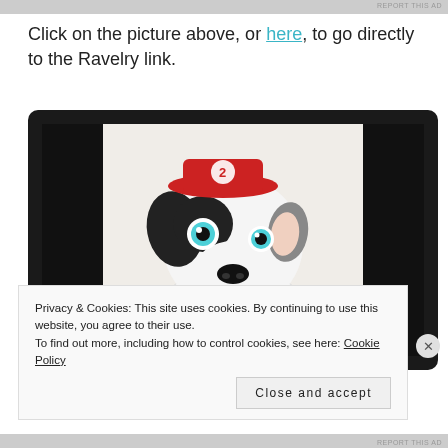[Figure (other): Top ad banner bar (gray)]
Click on the picture above, or here, to go directly to the Ravelry link.
[Figure (photo): Laptop computer showing a crocheted Dalmatian dog toy wearing a red firefighter hat, with teal eyes and a red collar, displayed on what appears to be a beige surface. The laptop screen has a black background with the dog photo centered.]
Privacy & Cookies: This site uses cookies. By continuing to use this website, you agree to their use.
To find out more, including how to control cookies, see here: Cookie Policy
Close and accept
[Figure (other): Bottom ad banner bar (gray)]